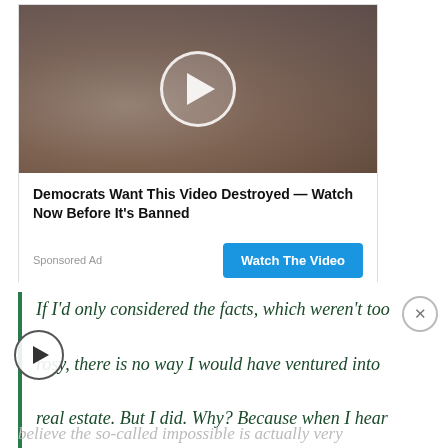[Figure (screenshot): Sponsored video ad thumbnail showing two people (a woman and a man), with a large circular play button overlay]
Democrats Want This Video Destroyed — Watch Now Before It's Banned
Sponsored Ad
If I'd only considered the facts, which weren't too rosy, there is no way I would have ventured into real estate. But I did. Why? Because when I hear word 'No' it becomes a challenge to me. I believe the so-called impossible is actually very